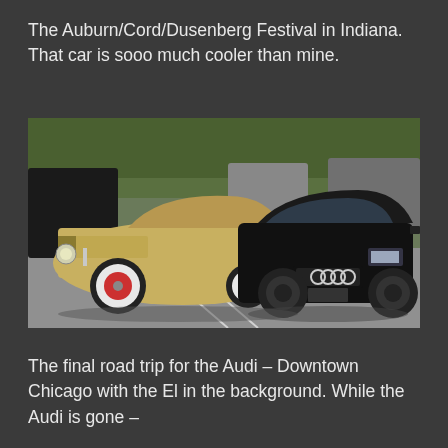The Auburn/Cord/Dusenberg Festival in Indiana. That car is sooo much cooler than mine.
[Figure (photo): Two cars parked side by side in a parking lot. On the left is a vintage cream/tan classic car (1930s era) with red wire wheels and whitewall tires, chrome details. On the right is a modern black Audi coupe. Trees and other cars are visible in the background.]
The final road trip for the Audi – Downtown Chicago with the El in the background. While the Audi is gone –